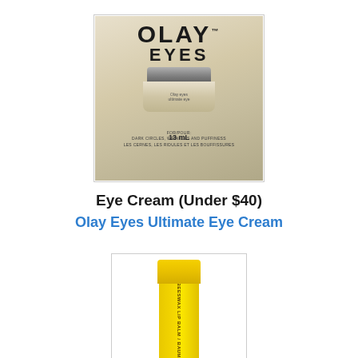[Figure (photo): Olay Eyes Ultimate Eye Cream product box showing the cream jar inside packaging with 'OLAY EYES' branding, 13 mL]
Eye Cream (Under $40)
Olay Eyes Ultimate Eye Cream
[Figure (photo): Burt's Bees Beeswax Lip Balm yellow tube standing upright with yellow cap]